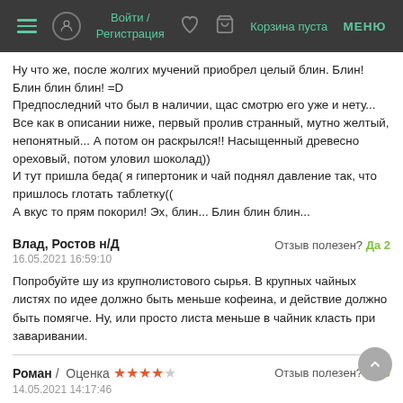Войти / Регистрация | Корзина пуста | МЕНЮ
Ну что же, после жолгих мучений приобрел целый блин. Блин! Блин блин блин! =D
Предпоследний что был в наличии, щас смотрю его уже и нету...
Все как в описании ниже, первый пролив странный, мутно желтый, непонятный... А потом он раскрылся!! Насыщенный древесно ореховый, потом уловил шоколад))
И тут пришла беда( я гипертоник и чай поднял давление так, что пришлось глотать таблетку((
А вкус то прям покорил! Эх, блин... Блин блин блин...
Влад, Ростов н/Д
16.05.2021 16:59:10
Отзыв полезен? Да 2

Попробуйте шу из крупнолистового сырья. В крупных чайных листях по идее должно быть меньше кофеина, и действие должно быть помягче. Ну, или просто листа меньше в чайник класть при заваривании.
Роман / Оценка ★★★★☆ Отзыв полезен? Да 0
14.05.2021 14:17:46